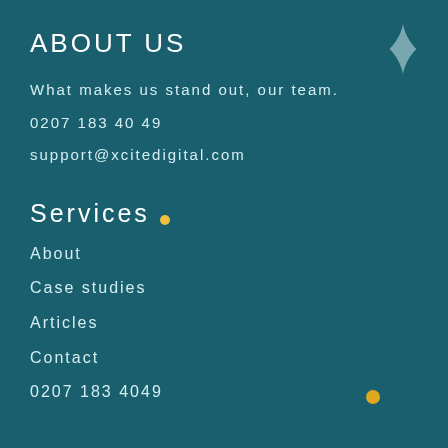About us
What makes us stand out, our team.
0207 183 40 49
support@xcitedigital.com
[Figure (illustration): Four-pointed star decorative element in grey-blue color]
[Figure (illustration): Small yellow dot decorative element]
Services
About
Case studies
Articles
Contact
[Figure (illustration): Small yellow dot decorative element]
0207 183 4049